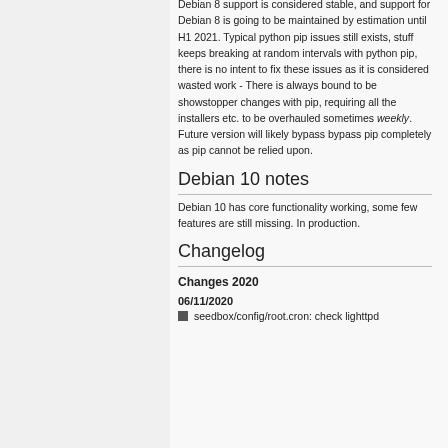Debian 8 support is considered stable, and support for Debian 8 is going to be maintained by estimation until H1 2021. Typical python pip issues still exists, stuff keeps breaking at random intervals with python pip, there is no intent to fix these issues as it is considered wasted work - There is always bound to be showstopper changes with pip, requiring all the installers etc. to be overhauled sometimes weekly. Future version will likely bypass bypass pip completely as pip cannot be relied upon.
Debian 10 notes
Debian 10 has core functionality working, some few features are still missing. In production.
Changelog
Changes 2020
06/11/2020
seedbox/config/root.cron: check lighttpd